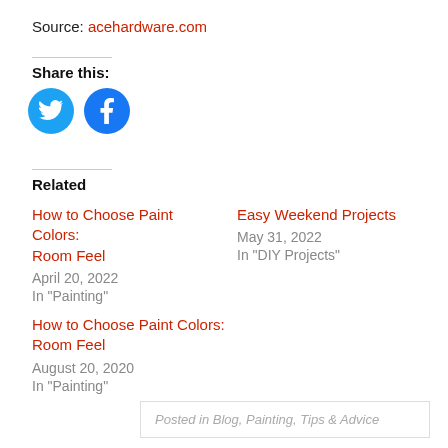Source: acehardware.com
Share this:
[Figure (illustration): Twitter and Facebook share icon buttons as blue circles]
Related
How to Choose Paint Colors: Room Feel
April 20, 2022
In "Painting"
Easy Weekend Projects
May 31, 2022
In "DIY Projects"
How to Choose Paint Colors: Room Feel
August 20, 2020
In "Painting"
Posted in Blog, Painting, Tips & Advice